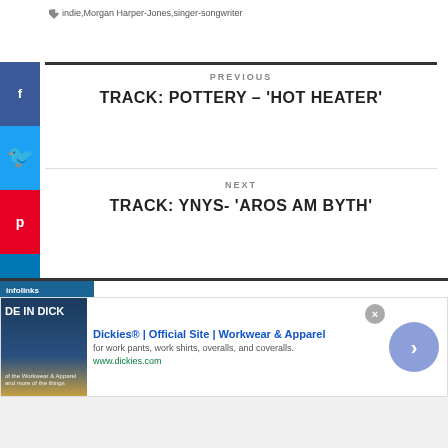indie, Morgan Harper-Jones, singer-songwriter
PREVIOUS
TRACK: POTTERY – 'HOT HEATER'
NEXT
TRACK: YNYS- 'AROS AM BYTH'
[Figure (screenshot): Social share buttons on left (Facebook, Twitter, Pinterest, LinkedIn, Tumblr)]
[Figure (screenshot): Infolinks advertisement banner for Dickies workwear]